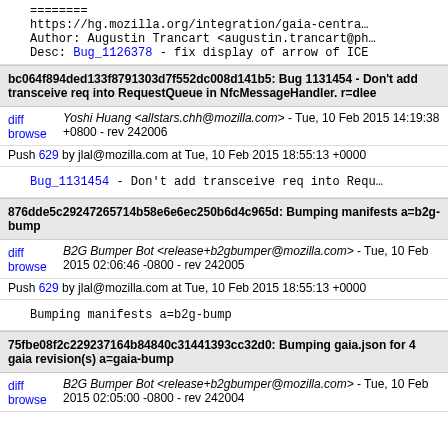========
https://hg.mozilla.org/integration/gaia-centra...
Author: Augustin Trancart <augustin.trancart@ph...
Desc: Bug_1126378 - fix display of arrow of ICE
bc064f894ded133f8791303d7f552dc008d141b5: Bug 1131454 - Don't add transceive req into RequestQueue in NfcMessageHandler. r=dlee
Yoshi Huang <allstars.chh@mozilla.com> - Tue, 10 Feb 2015 14:19:38 +0800 - rev 242006
Push 629 by jlal@mozilla.com at Tue, 10 Feb 2015 18:55:13 +0000
Bug_1131454 - Don't add transceive req into Requ...
876dde5c29247265714b58e6e6ec250b6d4c965d: Bumping manifests a=b2g-bump
B2G Bumper Bot <release+b2gbumper@mozilla.com> - Tue, 10 Feb 2015 02:06:46 -0800 - rev 242005
Push 629 by jlal@mozilla.com at Tue, 10 Feb 2015 18:55:13 +0000
Bumping manifests a=b2g-bump
75fbe08f2c229237164b84840c31441393cc32d0: Bumping gaia.json for 4 gaia revision(s) a=gaia-bump
B2G Bumper Bot <release+b2gbumper@mozilla.com> - Tue, 10 Feb 2015 02:05:00 -0800 - rev 242004
diff
browse